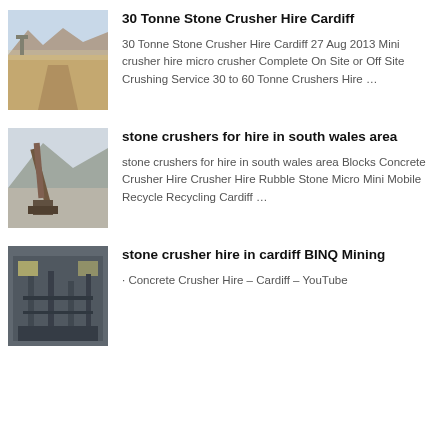[Figure (photo): Quarry or desert road scene with machinery and dust]
30 Tonne Stone Crusher Hire Cardiff
30 Tonne Stone Crusher Hire Cardiff 27 Aug 2013 Mini crusher hire micro crusher Complete On Site or Off Site Crushing Service 30 to 60 Tonne Crushers Hire …
[Figure (photo): Industrial crane or conveyor machinery against mountain background]
stone crushers for hire in south wales area
stone crushers for hire in south wales area Blocks Concrete Crusher Hire Crusher Hire Rubble Stone Micro Mini Mobile Recycle Recycling Cardiff …
[Figure (photo): Factory or industrial plant interior with pipes and machinery]
stone crusher hire in cardiff BINQ Mining
· Concrete Crusher Hire – Cardiff – YouTube